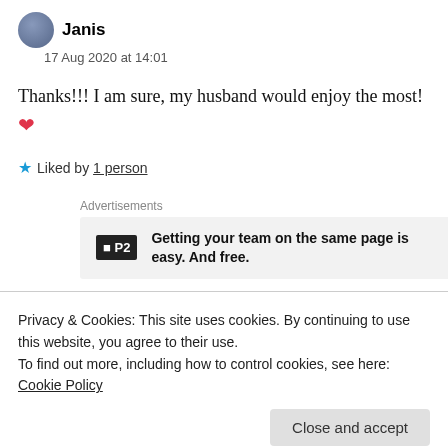Janis
17 Aug 2020 at 14:01
Thanks!!! I am sure, my husband would enjoy the most! ❤
★ Liked by 1 person
Advertisements
[Figure (other): P2 advertisement: Getting your team on the same page is easy. And free.]
Privacy & Cookies: This site uses cookies. By continuing to use this website, you agree to their use.
To find out more, including how to control cookies, see here: Cookie Policy
seeing this movie in theatres and being blown away